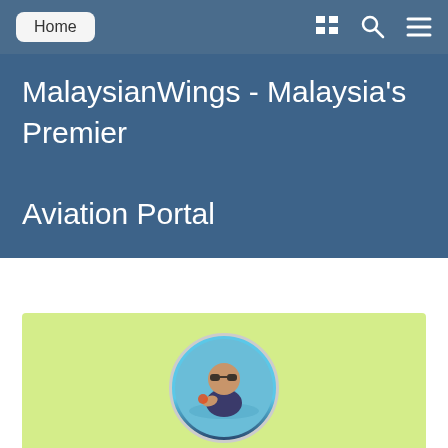Home
MalaysianWings - Malaysia's Premier Aviation Portal
[Figure (photo): Profile photo of a child swimming underwater with goggles, shown in a circular avatar frame]
Tafe
Members